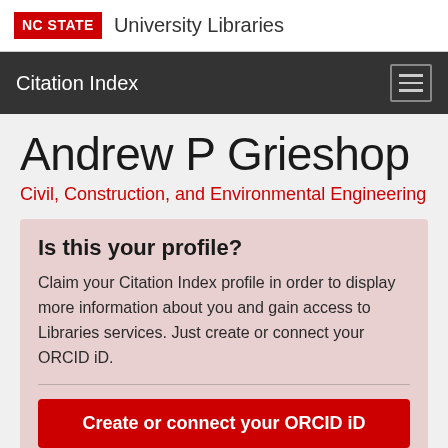NC STATE University Libraries
Citation Index
Andrew P Grieshop
Civil, Construction, and Environmental Engineering
Is this your profile?
Claim your Citation Index profile in order to display more information about you and gain access to Libraries services. Just create or connect your ORCID iD.
Create or connect your ORCID iD